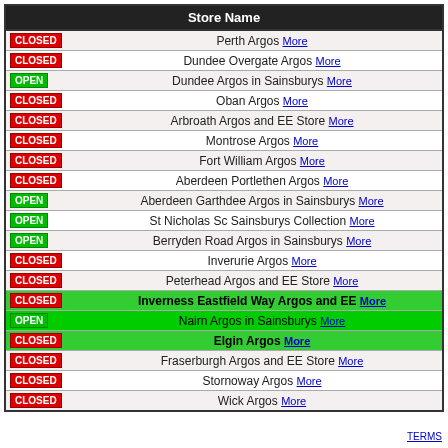| Store Name |
| --- |
| CLOSED | Perth Argos More |
| CLOSED | Dundee Overgate Argos More |
| OPEN | Dundee Argos in Sainsburys More |
| CLOSED | Oban Argos More |
| CLOSED | Arbroath Argos and EE Store More |
| CLOSED | Montrose Argos More |
| CLOSED | Fort William Argos More |
| CLOSED | Aberdeen Portlethen Argos More |
| OPEN | Aberdeen Garthdee Argos in Sainsburys More |
| OPEN | St Nicholas Sc Sainsburys Collection More |
| OPEN | Berryden Road Argos in Sainsburys More |
| CLOSED | Inverurie Argos More |
| CLOSED | Peterhead Argos and EE Store More |
| CLOSED | Inverness Eastfield Way Argos and EE More |
| OPEN | Nairn Argos in Sainsburys More |
| CLOSED | Elgin Argos More |
| CLOSED | Fraserburgh Argos and EE Store More |
| CLOSED | Stornoway Argos More |
| CLOSED | Wick Argos More |
TERMS